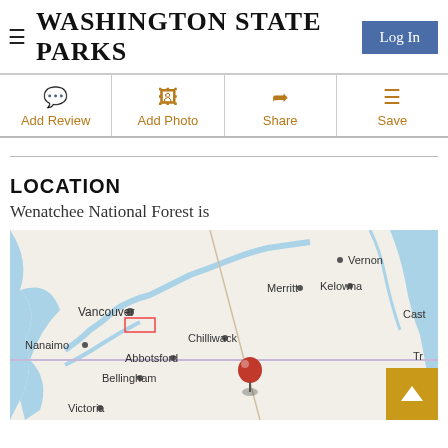WASHINGTON STATE PARKS
[Figure (screenshot): Action bar with Add Review, Add Photo, Share, Save buttons in orange/gold color]
LOCATION
Wenatchee National Forest is
[Figure (map): Map showing Pacific Northwest region including Vancouver, Nanaimo, Abbotsford, Bellingham, Victoria, Chilliwack, Merritt, Kelowna, Vernon, and a red location pin marker]